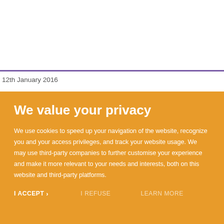12th January 2016
We value your privacy
We use cookies to speed up your navigation of the website, recognize you and your access privileges, and track your website usage. We may use third-party companies to further customise your experience and make it more relevant to your needs and interests, both on this website and third-party platforms.
I ACCEPT > I REFUSE LEARN MORE